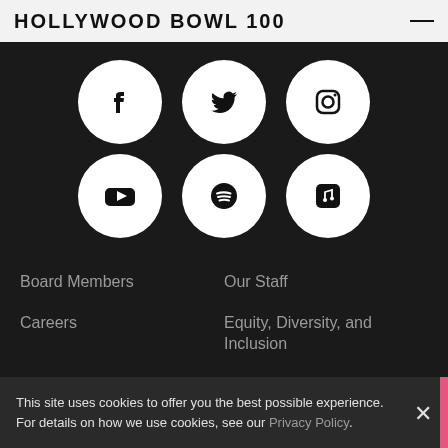HOLLYWOOD BOWL 100
[Figure (illustration): Six social media icon circles on dark background: Facebook, Twitter, Instagram (top row); YouTube, Spotify, Apple Music (bottom row)]
Board Members
Our Staff
Careers
Equity, Diversity, and Inclusion
Auditions
Corporate Governance
This site uses cookies to offer you the best possible experience. For details on how we use cookies, see our Privacy Policy.